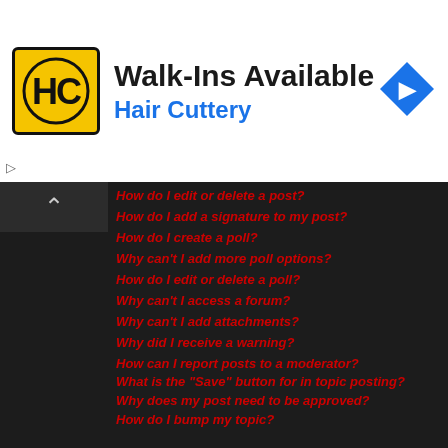[Figure (logo): Hair Cuttery advertisement banner with logo, 'Walk-Ins Available' heading, and navigation arrow icon]
How do I edit or delete a post?
How do I add a signature to my post?
How do I create a poll?
Why can't I add more poll options?
How do I edit or delete a poll?
Why can't I access a forum?
Why can't I add attachments?
Why did I receive a warning?
How can I report posts to a moderator?
What is the "Save" button for in topic posting?
Why does my post need to be approved?
How do I bump my topic?
Formatting and Topic Types
What is BBCode?
Can I use HTML?
What are Smilies?
Can I post images?